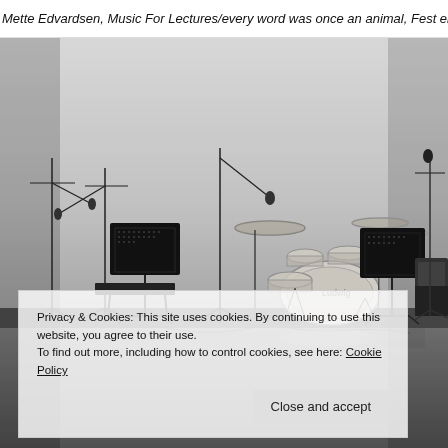Mette Edvardsen, Music For Lectures/every word was once an animal, Fest en
[Figure (photo): Black and white photograph of a stage setup with musical instruments and stands: microphone stands, music stands, a drum kit in the center, guitar amplifiers, and various cables on a reflective floor against a light grey/white wall.]
Privacy & Cookies: This site uses cookies. By continuing to use this website, you agree to their use. To find out more, including how to control cookies, see here: Cookie Policy
Close and accept